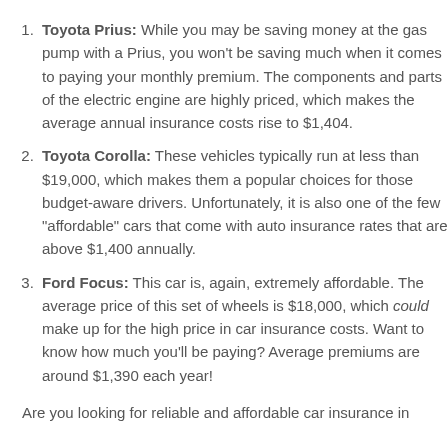Toyota Prius: While you may be saving money at the gas pump with a Prius, you won't be saving much when it comes to paying your monthly premium. The components and parts of the electric engine are highly priced, which makes the average annual insurance costs rise to $1,404.
Toyota Corolla: These vehicles typically run at less than $19,000, which makes them a popular choices for those budget-aware drivers. Unfortunately, it is also one of the few "affordable" cars that come with auto insurance rates that are above $1,400 annually.
Ford Focus: This car is, again, extremely affordable. The average price of this set of wheels is $18,000, which could make up for the high price in car insurance costs. Want to know how much you'll be paying? Average premiums are around $1,390 each year!
Are you looking for reliable and affordable car insurance in